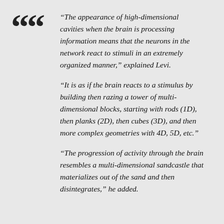“The appearance of high-dimensional cavities when the brain is processing information means that the neurons in the network react to stimuli in an extremely organized manner,” explained Levi.
“It is as if the brain reacts to a stimulus by building then razing a tower of multi-dimensional blocks, starting with rods (1D), then planks (2D), then cubes (3D), and then more complex geometries with 4D, 5D, etc.”
“The progression of activity through the brain resembles a multi-dimensional sandcastle that materializes out of the sand and then disintegrates,” he added.